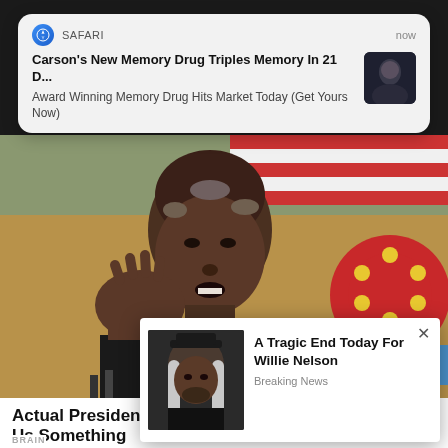[Figure (screenshot): Safari push notification banner showing: 'Carson's New Memory Drug Triples Memory In 21 D...' with subtext 'Award Winning Memory Drug Hits Market Today (Get Yours Now)' and a small thumbnail photo, labeled 'SAFARI' with timestamp 'now']
[Figure (photo): Close-up photo of Barack Obama speaking with American flag and ASEAN emblem in background]
Actual Presidents Appeared On The Screens Selling Us Something
BRAIN
[Figure (screenshot): Popup ad with photo of Willie Nelson and text 'A Tragic End Today For Willie Nelson' with subtitle 'Breaking News' and an X close button]